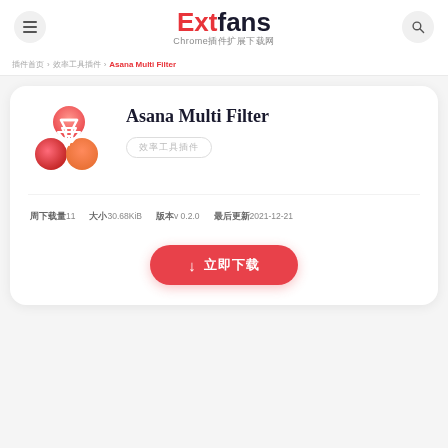Extfans Chrome插件扩展下载网
插件首页 > 效率工具插件 > Asana Multi Filter
Asana Multi Filter
效率工具插件
周下载量11   大小30.68KiB   版本v 0.2.0   最后更新2021-12-21
↓ 立即下载